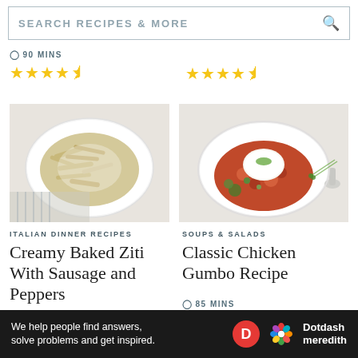SEARCH RECIPES & MORE
90 MINS
[Figure (other): 4.5 star rating (yellow stars), left card top]
[Figure (other): 4.5 star rating (yellow stars), right card top]
[Figure (photo): Creamy baked ziti with sausage and peppers in a white bowl on a striped cloth]
[Figure (photo): Classic chicken gumbo with rice in a white bowl, garnished with green onions and parsley]
ITALIAN DINNER RECIPES
Creamy Baked Ziti With Sausage and Peppers
45 MINS
SOUPS & SALADS
Classic Chicken Gumbo Recipe
85 MINS
[Figure (other): 4.5 star rating (yellow stars), right card bottom]
Ad
We help people find answers, solve problems and get inspired.
[Figure (logo): Dotdash Meredith logo with red D circle and colorful flower icon]